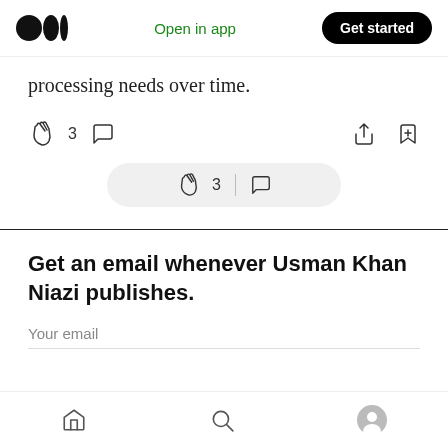Medium logo | Open in app | Get started
processing needs over time.
[Figure (screenshot): Article action bar with clap icon (3 claps), comment icon, share icon, and bookmark icon]
[Figure (screenshot): Floating action bar with clap icon (3 claps), divider, and comment icon on rounded pill background]
Get an email whenever Usman Khan Niazi publishes.
Your email
Bottom navigation bar with home, search, and profile icons